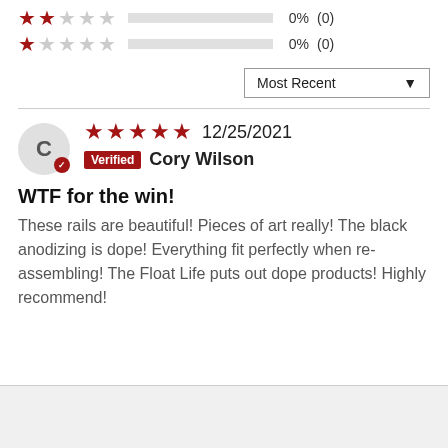[Figure (other): 2-star rating row with empty bar, 0%, (0)]
[Figure (other): 1-star rating row with empty bar, 0%, (0)]
Most Recent ▼
C  ★★★★★ 12/25/2021  Verified  Cory Wilson
WTF for the win!
These rails are beautiful! Pieces of art really! The black anodizing is dope! Everything fit perfectly when re-assembling! The Float Life puts out dope products! Highly recommend!